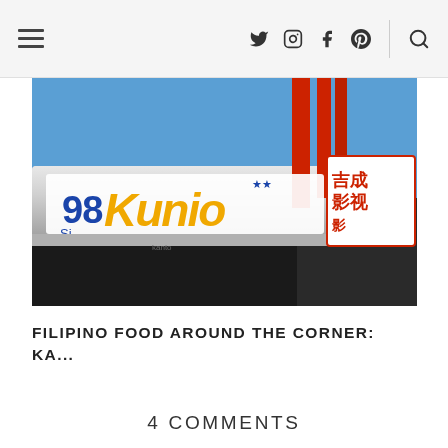Navigation bar with menu icon, social icons (Twitter, Instagram, Facebook, Pinterest) and search icon
[Figure (photo): Exterior photo of a Filipino restaurant storefront with a sign reading '98 Si Kunio' in blue and gold letters, with red structural beams and a Chinese-character sign visible to the right]
FILIPINO FOOD AROUND THE CORNER: KA...
4 COMMENTS